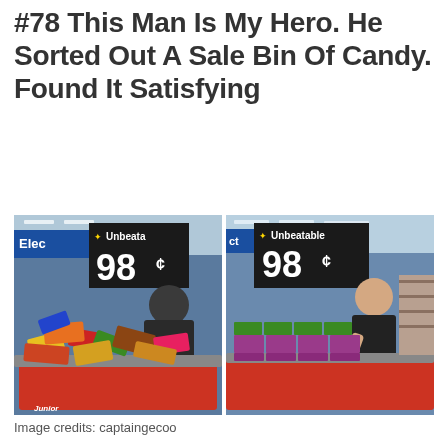#78 This Man Is My Hero. He Sorted Out A Sale Bin Of Candy. Found It Satisfying
[Figure (photo): Two side-by-side photos taken in a Walmart store. Left photo shows a young man leaning over a messy sale bin full of mixed candy bars. Right photo shows the same man smiling and giving a thumbs up next to the same bin, now neatly organized with candy sorted into rows. Both photos show a dark sign with '98¢' and a Walmart 'Unbeatable' logo above the bin.]
Image credits: captaingecoo